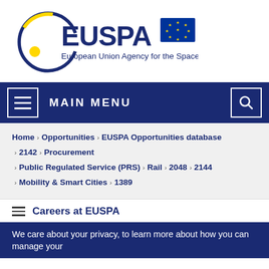[Figure (logo): EUSPA logo — European Union Agency for the Space Programme, with EU flag]
MAIN MENU
Home > Opportunities > EUSPA Opportunities database > 2142 > Procurement > Public Regulated Service (PRS) > Rail > 2048 > 2144 > Mobility & Smart Cities > 1389
Careers at EUSPA
We care about your privacy, to learn more about how you can manage your